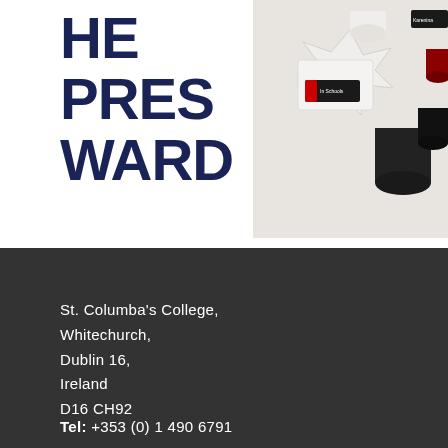HE PRES WARD
[Figure (photo): Photo of branded merchandise items including black capsules, white star-shaped tray, and small packaging items with F1 branding on a light surface]
St. Columba's College,
Whitechurch,
Dublin 16,
Ireland
D16 CH92
Tel: +353 (0) 1 490 6791